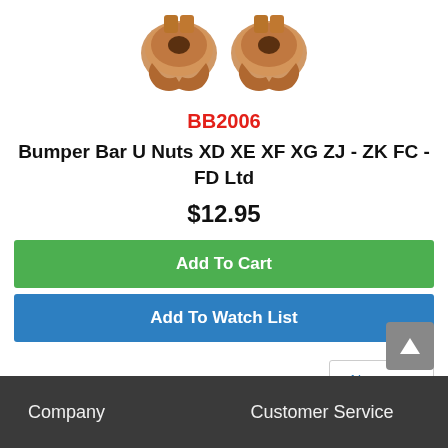[Figure (photo): Two copper/bronze bumper bar U nuts photographed on white background]
BB2006
Bumper Bar U Nuts XD XE XF XG ZJ - ZK FC - FD Ltd
$12.95
Add To Cart
Add To Watch List
Newer →
Company   Customer Service